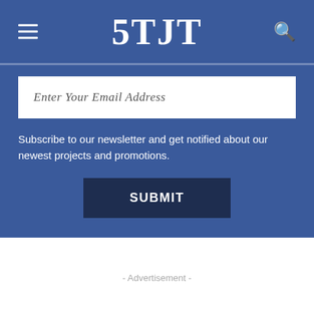5TJT
Enter Your Email Address
Subscribe to our newsletter and get notified about our newest projects and promotions.
SUBMIT
- Advertisement -
Stay connected